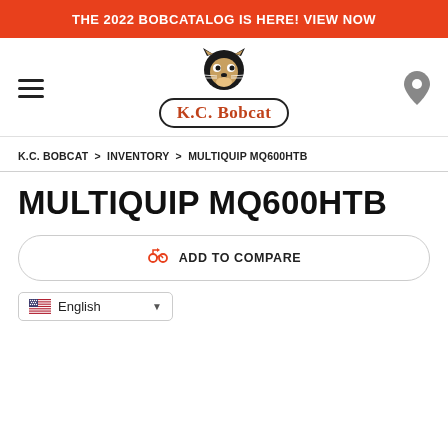THE 2022 BOBCATALOG IS HERE! VIEW NOW
[Figure (logo): K.C. Bobcat logo with bobcat face illustration and pill-shaped text badge reading 'K.C. Bobcat']
K.C. BOBCAT > INVENTORY > MULTIQUIP MQ600HTB
MULTIQUIP MQ600HTB
ADD TO COMPARE
English